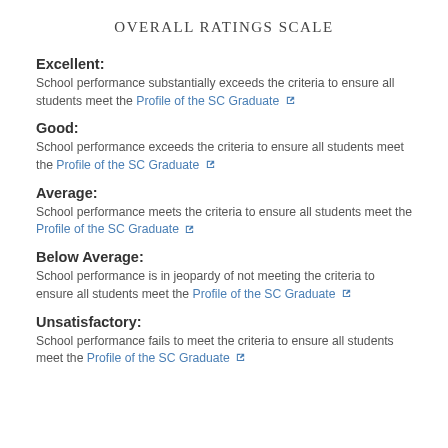OVERALL RATINGS SCALE
Excellent:
School performance substantially exceeds the criteria to ensure all students meet the Profile of the SC Graduate
Good:
School performance exceeds the criteria to ensure all students meet the Profile of the SC Graduate
Average:
School performance meets the criteria to ensure all students meet the Profile of the SC Graduate
Below Average:
School performance is in jeopardy of not meeting the criteria to ensure all students meet the Profile of the SC Graduate
Unsatisfactory:
School performance fails to meet the criteria to ensure all students meet the Profile of the SC Graduate